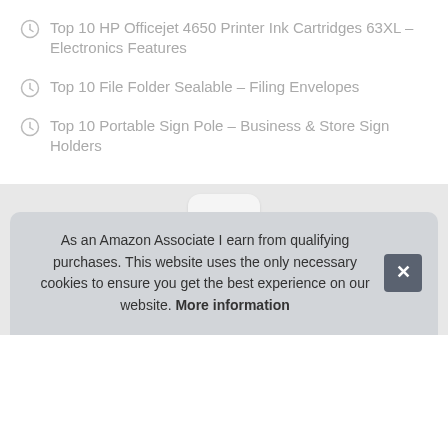Top 10 HP Officejet 4650 Printer Ink Cartridges 63XL – Electronics Features
Top 10 File Folder Sealable – Filing Envelopes
Top 10 Portable Sign Pole – Business & Store Sign Holders
[Figure (other): Scroll-to-top chevron button]
NomAaro © 2022. All Rights Reserved. Nomearo.com is a participant in the Amazon Services LLC Ass...
As an Amazon Associate I earn from qualifying purchases. This website uses the only necessary cookies to ensure you get the best experience on our website. More information